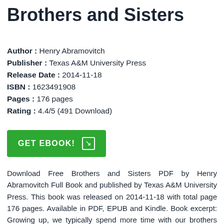Brothers and Sisters
Author : Henry Abramovitch
Publisher : Texas A&M University Press
Release Date : 2014-11-18
ISBN : 1623491908
Pages : 176 pages
Rating : 4.4/5 (491 Download)
[Figure (other): Green GET EBOOK! button with arrow icon]
Download Free Brothers and Sisters PDF by Henry Abramovitch Full Book and published by Texas A&M University Press. This book was released on 2014-11-18 with total page 176 pages. Available in PDF, EPUB and Kindle. Book excerpt: Growing up, we typically spend more time with our brothers and sisters than we do with our parents. In an age of divorce, mobility, and alienation, the sibling bond is often the only one that